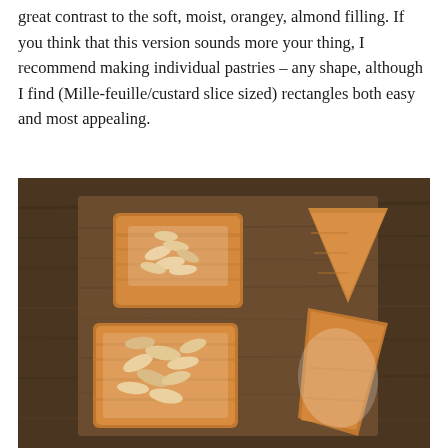great contrast to the soft, moist, orangey, almond filling. If you think that this version sounds more your thing, I recommend making individual pastries – any shape, although I find (Mille-feuille/custard slice sized) rectangles both easy and most appealing.
[Figure (photo): Four golden-brown almond pastries arranged on a dark wooden board. Two rectangular pastries topped with sliced almonds and dusted with powdered sugar on the left, and two triangular pastries dusted with powdered sugar on the right.]